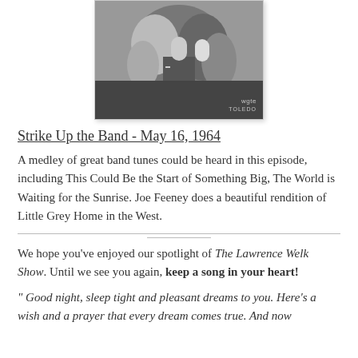[Figure (photo): Black and white photograph of people at what appears to be a social event or dance, with a watermark reading 'wgte TOLEDO' in the lower right corner.]
Strike Up the Band - May 16, 1964
A medley of great band tunes could be heard in this episode, including This Could Be the Start of Something Big, The World is Waiting for the Sunrise. Joe Feeney does a beautiful rendition of Little Grey Home in the West.
We hope you've enjoyed our spotlight of The Lawrence Welk Show. Until we see you again, keep a song in your heart!
" Good night, sleep tight and pleasant dreams to you. Here's a wish and a prayer that every dream comes true. And now